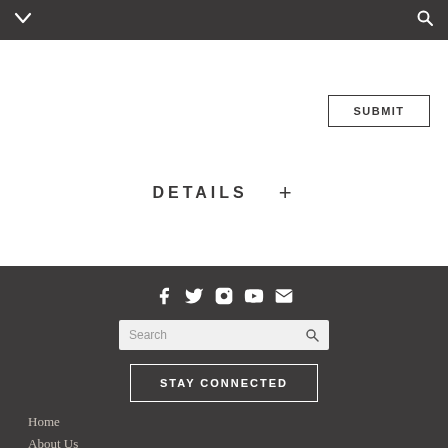Navigation bar with chevron and search icon
SUBMIT
DETAILS +
[Figure (other): Social media icons row: Facebook, Twitter, Instagram, YouTube, Email]
Search
STAY CONNECTED
Home
About Us